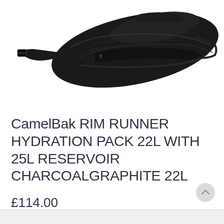[Figure (photo): Black CamelBak hydration pack / hip pack shown from the side on white background. The bag is black with straps and buckle clips visible.]
CamelBak RIM RUNNER HYDRATION PACK 22L WITH 25L RESERVOIR CHARCOALGRAPHITE 22L
£114.00